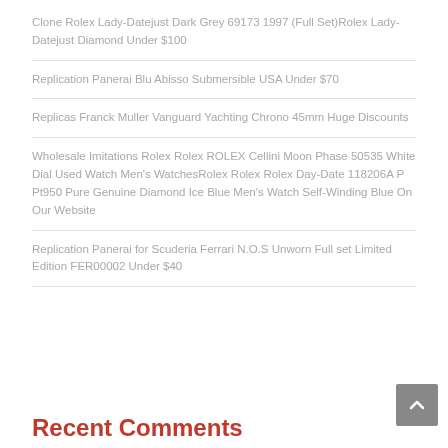Clone Rolex Lady-Datejust Dark Grey 69173 1997 (Full Set)Rolex Lady-Datejust Diamond Under $100
Replication Panerai Blu Abisso Submersible USA Under $70
Replicas Franck Muller Vanguard Yachting Chrono 45mm Huge Discounts
Wholesale Imitations Rolex Rolex ROLEX Cellini Moon Phase 50535 White Dial Used Watch Men's WatchesRolex Rolex Rolex Day-Date 118206A P Pt950 Pure Genuine Diamond Ice Blue Men's Watch Self-Winding Blue On Our Website
Replication Panerai for Scuderia Ferrari N.O.S Unworn Full set Limited Edition FER00002 Under $40
Recent Comments